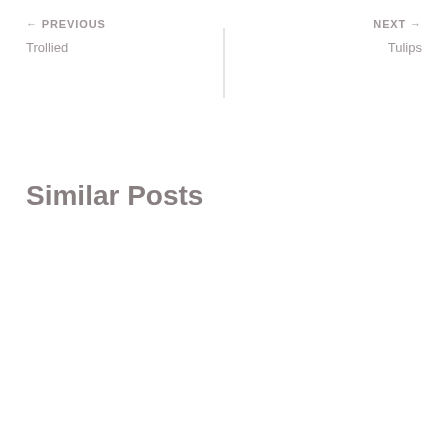← PREVIOUS
Trollied
NEXT →
Tulips
Similar Posts